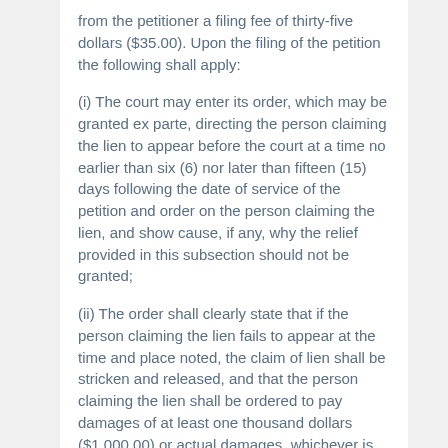from the petitioner a filing fee of thirty-five dollars ($35.00). Upon the filing of the petition the following shall apply:
(i) The court may enter its order, which may be granted ex parte, directing the person claiming the lien to appear before the court at a time no earlier than six (6) nor later than fifteen (15) days following the date of service of the petition and order on the person claiming the lien, and show cause, if any, why the relief provided in this subsection should not be granted;
(ii) The order shall clearly state that if the person claiming the lien fails to appear at the time and place noted, the claim of lien shall be stricken and released, and that the person claiming the lien shall be ordered to pay damages of at least one thousand dollars ($1,000.00) or actual damages, whichever is greater, and the costs incurred by the petitioner, including reasonable attorneys'